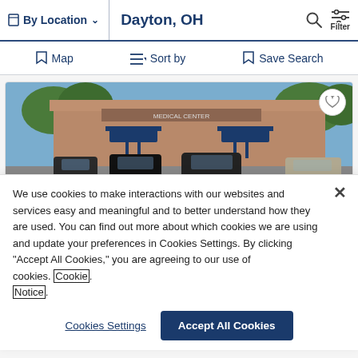By Location ∨   Dayton, OH   🔍   Filter
🔖 Map   ≡↓ Sort by   🔖 Save Search
[Figure (photo): Exterior photo of a brick commercial/medical building with blue canopy awnings over entrances, multiple cars parked in front lot, trees in background]
We use cookies to make interactions with our websites and services easy and meaningful and to better understand how they are used. You can find out more about which cookies we are using and update your preferences in Cookies Settings. By clicking "Accept All Cookies," you are agreeing to our use of cookies. Cookie Notice.
Cookies Settings   Accept All Cookies